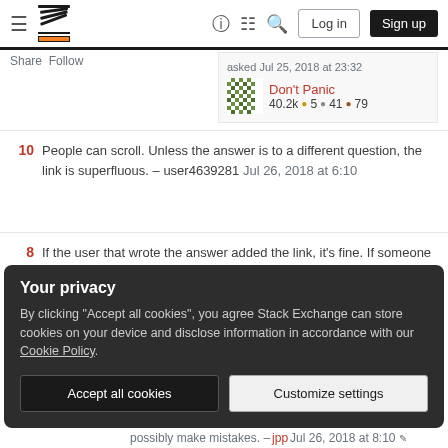Stack Exchange — Log in / Sign up
Share · Follow
asked Jul 25, 2018 at 23:32 — Don't Panic — 40.2k ●5 ●41 ●79
10 People can scroll. Unless the answer is to a different question, the link is superfluous. – user4639281 Jul 26, 2018 at 6:10
8 If the user that wrote the answer added the link, it's fine. If someone else added the link, I'd be very tempted to revert the edit. – Cerbrus Jul 26, 2018 at 6:29
Your privacy
By clicking "Accept all cookies", you agree Stack Exchange can store cookies on your device and disclose information in accordance with our Cookie Policy.
Accept all cookies
Customize settings
possibly make mistakes. – jpp Jul 26, 2018 at 8:10